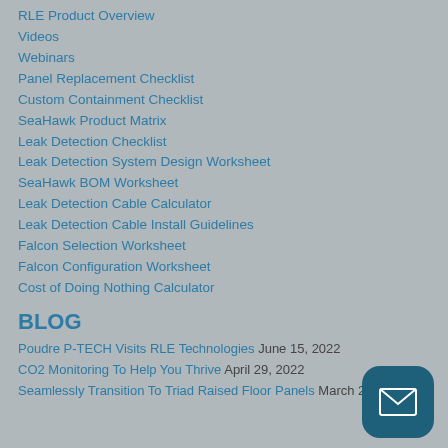RLE Product Overview
Videos
Webinars
Panel Replacement Checklist
Custom Containment Checklist
SeaHawk Product Matrix
Leak Detection Checklist
Leak Detection System Design Worksheet
SeaHawk BOM Worksheet
Leak Detection Cable Calculator
Leak Detection Cable Install Guidelines
Falcon Selection Worksheet
Falcon Configuration Worksheet
Cost of Doing Nothing Calculator
BLOG
Poudre P-TECH Visits RLE Technologies June 15, 2022
CO2 Monitoring To Help You Thrive April 29, 2022
Seamlessly Transition To Triad Raised Floor Panels March 21, 2022